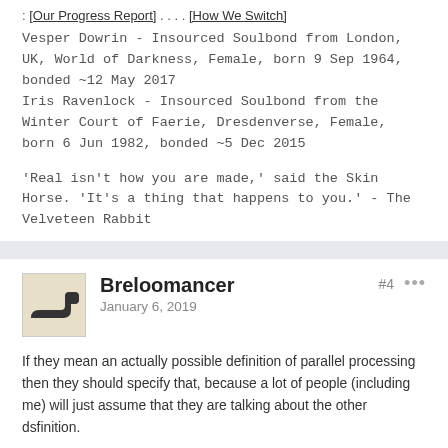: [Our Progress Report] . . . . [How We Switch]
Vesper Dowrin - Insourced Soulbond from London, UK, World of Darkness, Female, born 9 Sep 1964, bonded ~12 May 2017
Iris Ravenlock - Insourced Soulbond from the Winter Court of Faerie, Dresdenverse, Female, born 6 Jun 1982, bonded ~5 Dec 2015
'Real isn't how you are made,' said the Skin Horse. 'It's a thing that happens to you.' - The Velveteen Rabbit
Breloomancer
January 6, 2019
#4
If they mean an actually possible definition of parallel processing then they should specify that, because a lot of people (including me) will just assume that they are talking about the other dsfinition.
Using metaphors are fine sometimes, but in a guide, especially when talking about such a central aspect of the guide, it is